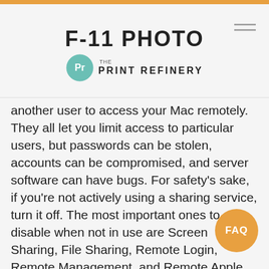F-11 PHOTO / the PRINT REFINERY
another user to access your Mac remotely. They all let you limit access to particular users, but passwords can be stolen, accounts can be compromised, and server software can have bugs. For safety's sake, if you’re not actively using a sharing service, turn it off. The most important ones to disable when not in use are Screen Sharing, File Sharing, Remote Login, Remote Management, and Remote Apple Events. We also caution against leaving Printer Sharing and Internet Sharing on unnecessarily.